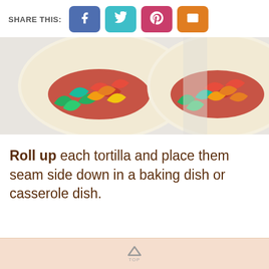SHARE THIS:
[Figure (photo): Two flour tortillas opened flat, each filled with colorful sautéed bell peppers (red, yellow, green) and sauce, viewed from above on a light background.]
Roll up each tortilla and place them seam side down in a baking dish or casserole dish.